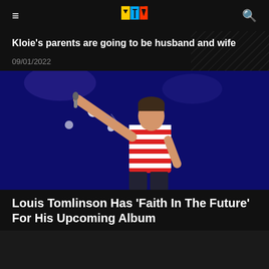MTV
Kloie's parents are going to be husband and wife
09/01/2022
[Figure (photo): Louis Tomlinson performing on stage in a red and white striped shirt, pointing upward with one arm extended, holding a microphone, against a dark blue stage backdrop with lights]
Louis Tomlinson Has 'Faith In The Future' For His Upcoming Album